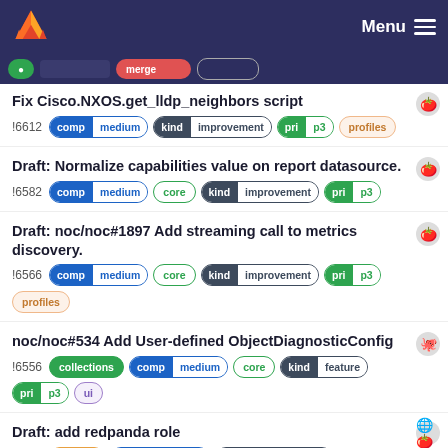Menu
Fix Cisco.NXOS.get_lldp_neighbors script !6612 comp medium kind improvement pri p3 profiles
Draft: Normalize capabilities value on report datasource. !6582 comp medium core kind improvement pri p3
Draft: noc/noc#1897 Add streaming call to metrics discovery. !6566 comp medium core kind improvement pri p3 profiles
noc/noc#534 Add User-defined ObjectDiagnosticConfig !6556 collections comp medium core kind feature pri p3 ui
Draft: add redpanda role !6541 ansible comp medium kind improvement